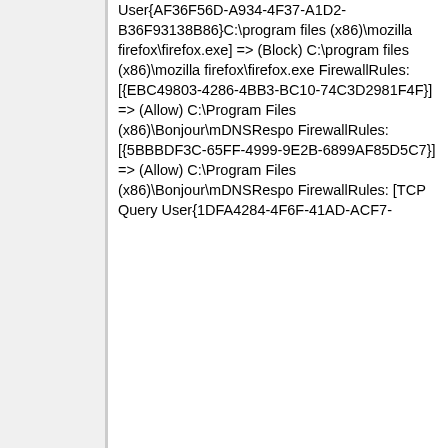User{AF36F56D-A934-4F37-A1D2-B36F93138B86}C:\program files (x86)\mozilla firefox\firefox.exe] => (Block) C:\program files (x86)\mozilla firefox\firefox.exe FirewallRules: [{EBC49803-4286-4BB3-BC10-74C3D2981F4F}] => (Allow) C:\Program Files (x86)\Bonjour\mDNSRespo FirewallRules: [{5BBBDF3C-65FF-4999-9E2B-6899AF85D5C7}] => (Allow) C:\Program Files (x86)\Bonjour\mDNSRespo FirewallRules: [TCP Query User{1DFA4284-4F6F-41AD-ACF7-